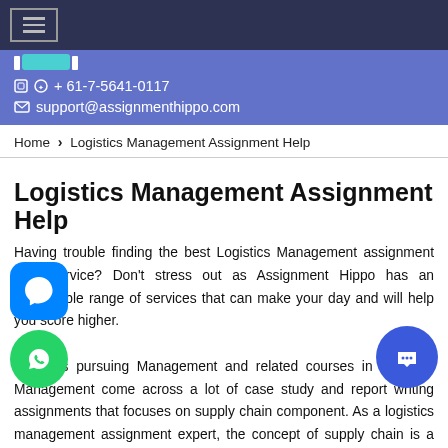☰ (menu button)
+ 61-7-5641-0117  support@assignmenthippo.com
Home › Logistics Management Assignment Help
Logistics Management Assignment Help
Having trouble finding the best Logistics Management assignment help service? Don't stress out as Assignment Hippo has an impeccable range of services that can make your day and will help you score higher. Students pursuing Management and related courses in Logistics Management come across a lot of case study and report writing assignments that focuses on supply chain component. As a logistics management assignment expert, the concept of supply chain is a vital in meeting the demands of consumers on the